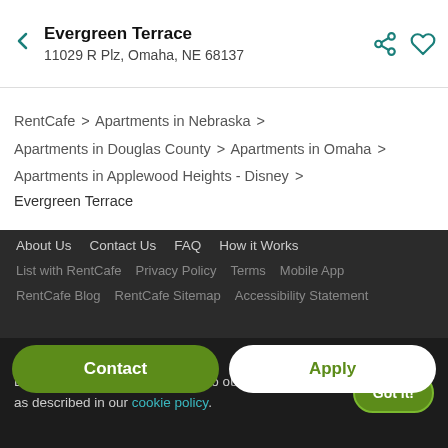Evergreen Terrace
11029 R Plz, Omaha, NE 68137
RentCafe > Apartments in Nebraska > Apartments in Douglas County > Apartments in Omaha > Apartments in Applewood Heights - Disney > Evergreen Terrace
About Us  Contact Us  FAQ  How it Works
List with RentCafe  Privacy Policy  Terms  Mobile App
RentCafe Blog  RentCafe Sitemap  Accessibility Statement
Contact
Apply
By using this website you agree to our use of cookies as described in our cookie policy.